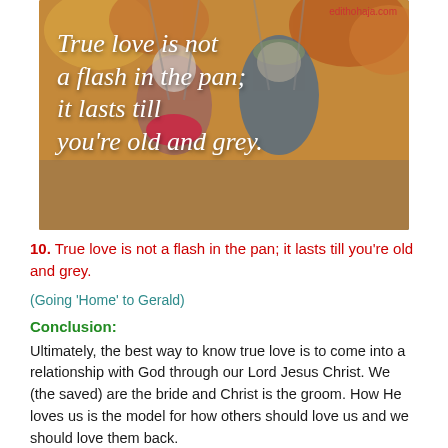[Figure (photo): Elderly couple on swings in an autumn park setting. The woman has white/grey hair and a pink/red scarf; the man wears a grey cap and blue jacket. White italic handwritten text overlay reads: 'True love is not a flash in the pan; it lasts till you're old and grey.' Website watermark 'edithohaja.com' appears in red at top right.]
10. True love is not a flash in the pan; it lasts till you're old and grey.
(Going 'Home' to Gerald)
Conclusion:
Ultimately, the best way to know true love is to come into a relationship with God through our Lord Jesus Christ. We (the saved) are the bride and Christ is the groom. How He loves us is the model for how others should love us and we should love them back.